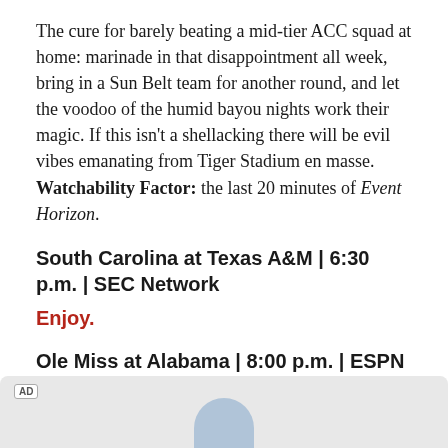The cure for barely beating a mid-tier ACC squad at home: marinade in that disappointment all week, bring in a Sun Belt team for another round, and let the voodoo of the humid bayou nights work their magic. If this isn't a shellacking there will be evil vibes emanating from Tiger Stadium en masse. Watchability Factor: the last 20 minutes of Event Horizon.
South Carolina at Texas A&M | 6:30 p.m. | SEC Network
Enjoy.
Ole Miss at Alabama | 8:00 p.m. | ESPN
[Bob Dylan holds up photo of Nick Saban, begins singing]
[Figure (photo): Advertisement banner at bottom of page with AD label and partial photo of a person]